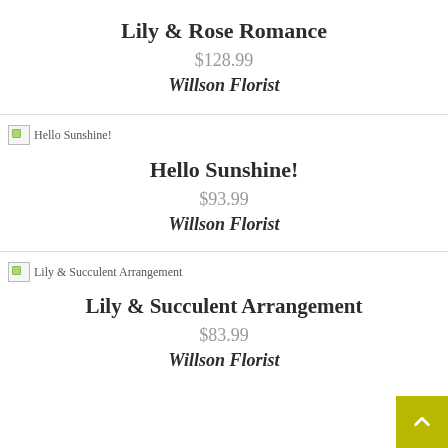Lily & Rose Romance
$128.99
Willson Florist
[Figure (photo): Broken image placeholder for Hello Sunshine! product photo]
Hello Sunshine!
$93.99
Willson Florist
[Figure (photo): Broken image placeholder for Lily & Succulent Arrangement product photo]
Lily & Succulent Arrangement
$83.99
Willson Florist